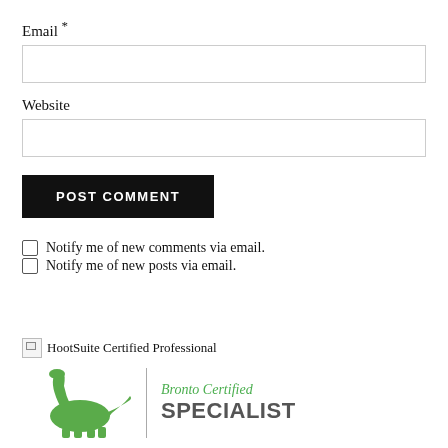Email *
Website
POST COMMENT
Notify me of new comments via email.
Notify me of new posts via email.
[Figure (logo): Broken image icon followed by text: HootSuite Certified Professional]
[Figure (logo): Bronto Certified Specialist badge with green dinosaur silhouette and vertical divider]